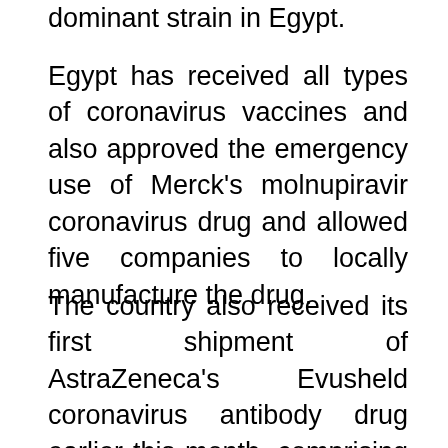dominant strain in Egypt.
Egypt has received all types of coronavirus vaccines and also approved the emergency use of Merck’s molnupiravir coronavirus drug and allowed five companies to locally manufacture the drug.
The country also received its first shipment of AstraZeneca’s Evusheld coronavirus antibody drug earlier this month, comprising 15,000 doses.
Coronavirus
Deaths